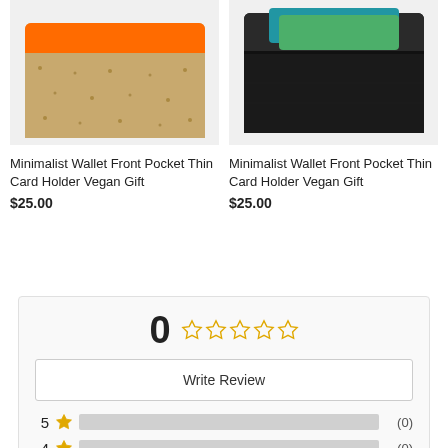[Figure (photo): Cork minimalist wallet with orange accent strip, front pocket card holder]
[Figure (photo): Black minimalist wallet with cards visible in front pocket]
Minimalist Wallet Front Pocket Thin Card Holder Vegan Gift
$25.00
Minimalist Wallet Front Pocket Thin Card Holder Vegan Gift
$25.00
0
Write Review
5 (0)
4 (0)